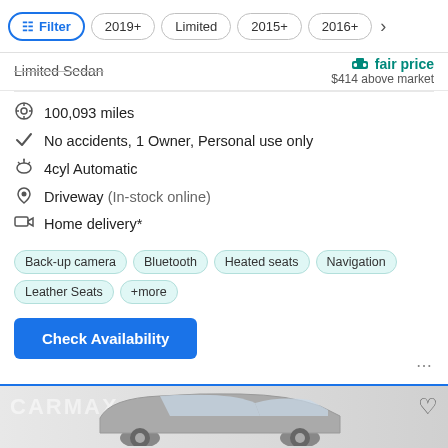Filter | 2019+ | Limited | 2015+ | 2016+
Limited Sedan
fair price
$414 above market
100,093 miles
No accidents, 1 Owner, Personal use only
4cyl Automatic
Driveway (In-stock online)
Home delivery*
Back-up camera  Bluetooth  Heated seats  Navigation  Leather Seats  +more
Check Availability